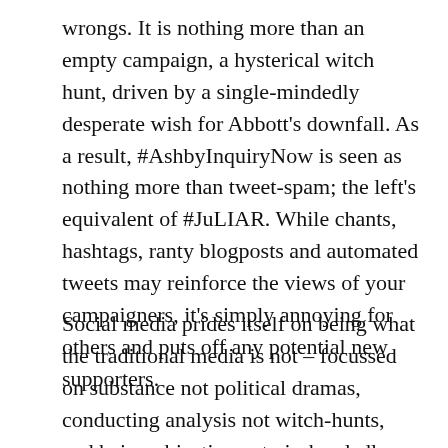wrongs. It is nothing more than an empty campaign, a hysterical witch hunt, driven by a single-mindedly desperate wish for Abbott's downfall. As a result, #AshbyInquiryNow is seen as nothing more than tweet-spam; the left's equivalent of #JuLIAR. While chants, hashtags, ranty blogposts and automated tweets may reinforce the views of your campaigners, it's simply annoying for others and puts off any potential new supporters.
Social media prides itself on being what the traditional media is not – focussed on substance not political dramas, conducting analysis not witch-hunts, and being objective not pig-headedly partisan. Unfortunately, the